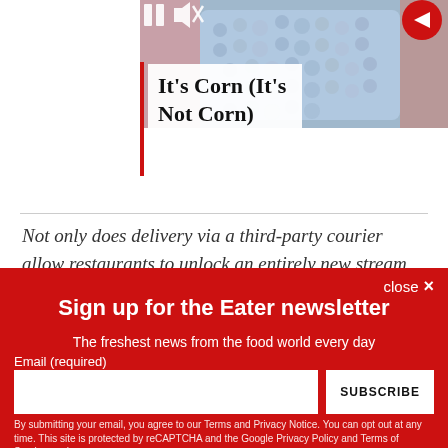[Figure (screenshot): Video thumbnail showing corn with media controls (pause and mute icons) and a red circular arrow button on the right]
It's Corn (It's Not Corn)
Not only does delivery via a third-party courier allow restaurants to unlock an entirely new stream of revenue,
close ×
Sign up for the Eater newsletter
The freshest news from the food world every day
Email (required)
SUBSCRIBE
By submitting your email, you agree to our Terms and Privacy Notice. You can opt out at any time. This site is protected by reCAPTCHA and the Google Privacy Policy and Terms of Service apply.